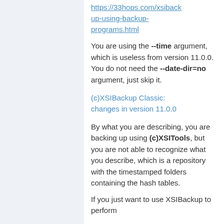https://33hops.com/xsibackup-using-backup-programs.html
You are using the --time argument, which is useless from version 11.0.0. You do not need the --date-dir=no argument, just skip it.
(c)XSIBackup Classic: changes in version 11.0.0
By what you are describing, you are backing up using (c)XSITools, but you are not able to recognize what you describe, which is a repository with the timestamped folders containing the hash tables.
If you just want to use XSIBackup to perform